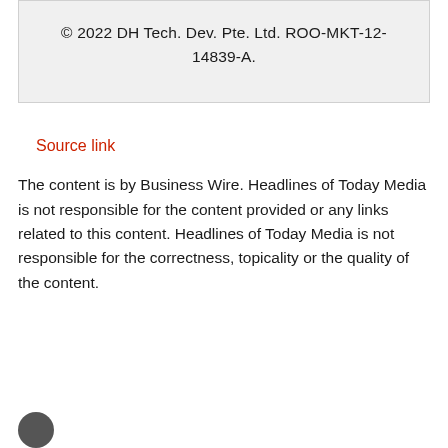© 2022 DH Tech. Dev. Pte. Ltd. ROO-MKT-12-14839-A.
Source link
The content is by Business Wire. Headlines of Today Media is not responsible for the content provided or any links related to this content. Headlines of Today Media is not responsible for the correctness, topicality or the quality of the content.